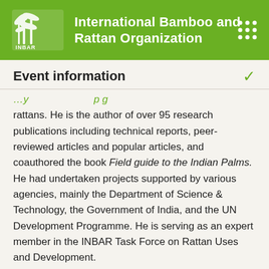International Bamboo and Rattan Organization
Event information
rattans. He is the author of over 95 research publications including technical reports, peer-reviewed articles and popular articles, and coauthored the book Field guide to the Indian Palms. He had undertaken projects supported by various agencies, mainly the Department of Science & Technology, the Government of India, and the UN Development Programme. He is serving as an expert member in the INBAR Task Force on Rattan Uses and Development.
Dr. Willie Abasolo. Dr. Abasolo is Dean of the College Of Forestry And Natural Resources at the University of the Philippines...